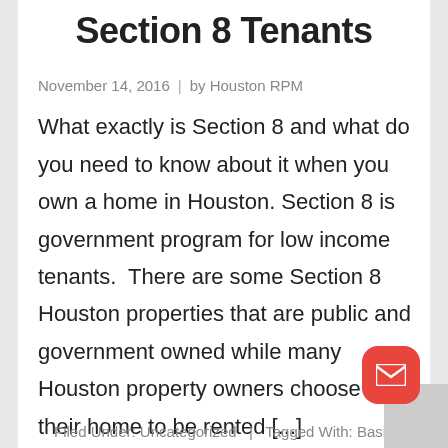Section 8 Tenants
November 14, 2016  |  by Houston RPM
What exactly is Section 8 and what do you need to know about it when you own a home in Houston. Section 8 is government program for low income tenants.  There are some Section 8 Houston properties that are public and government owned while many Houston property owners choose for their home to be rented [...]
Filed Under: Uncategorized  |  Tagged With: Basic